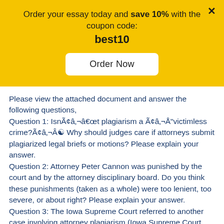Order your essay today and save 10% with the coupon code: best10
Please view the attached document and answer the following questions,
Question 1: IsnÃ¢â€¢t plagiarism a Ã¢â€Å¼victimless crime?Ã¢â€Ã¯ Why should judges care if attorneys submit plagiarized legal briefs or motions? Please explain your answer.
Question 2: Attorney Peter Cannon was punished by the court and by the attorney disciplinary board. Do you think these punishments (taken as a whole) were too lenient, too severe, or about right? Please explain your answer.
Question 3: The Iowa Supreme Court referred to another case involving attorney plagiarism (Iowa Supreme Court Board of Professional Ethics & Conduct v. Lane). In that case, the punishment for attorney Lane (suspension of his license to practice) was more severe than the punishment imposed on attorney Cannon. What distinction did the court make between